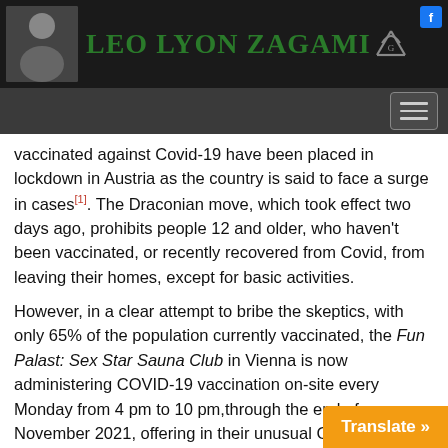[Figure (logo): Leo Lyon Zagami website header with logo, photo, and green text on dark background]
vaccinated against Covid-19 have been placed in lockdown in Austria as the country is said to face a surge in cases[1]. The Draconian move, which took effect two days ago, prohibits people 12 and older, who haven't been vaccinated, or recently recovered from Covid, from leaving their homes, except for basic activities.
However, in a clear attempt to bribe the skeptics, with only 65% of the population currently vaccinated, the Fun Palast: Sex Star Sauna Club in Vienna is now administering COVID-19 vaccination on-site every Monday from 4 pm to 10 pm,through the end of November 2021, offering in their unusual Covid package a free 30-minute session with a of your choice" at their sexual "sauna clu